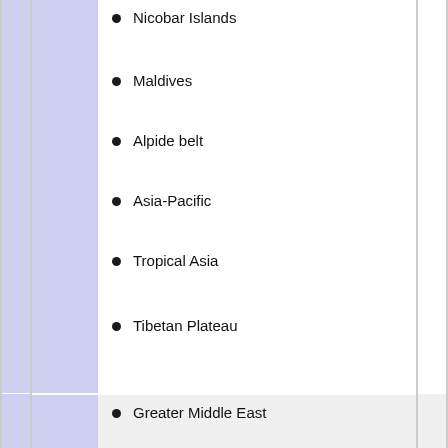Nicobar Islands
Maldives
Alpide belt
Asia-Pacific
Tropical Asia
Tibetan Plateau
Greater Middle East
MENA
Middle East
Red Sea
Hanish Islands
Caspian Sea
Mediterranean Sea
Zagros Mountains
Elam
Persian Gulf
Pirate Coast